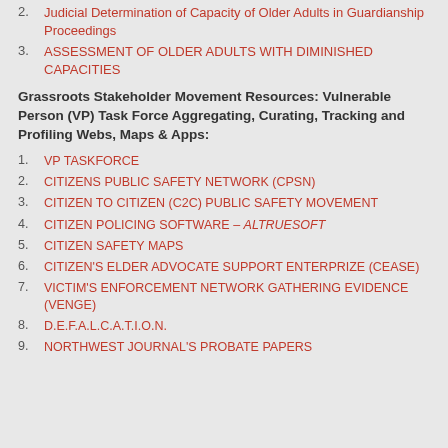2. Judicial Determination of Capacity of Older Adults in Guardianship Proceedings
3. ASSESSMENT OF OLDER ADULTS WITH DIMINISHED CAPACITIES
Grassroots Stakeholder Movement Resources: Vulnerable Person (VP) Task Force Aggregating, Curating, Tracking and Profiling Webs, Maps & Apps:
1. VP TASKFORCE
2. CITIZENS PUBLIC SAFETY NETWORK (CPSN)
3. CITIZEN TO CITIZEN (C2C) PUBLIC SAFETY MOVEMENT
4. CITIZEN POLICING SOFTWARE – ALTRUESOFT
5. CITIZEN SAFETY MAPS
6. CITIZEN'S ELDER ADVOCATE SUPPORT ENTERPRIZE (CEASE)
7. VICTIM'S ENFORCEMENT NETWORK GATHERING EVIDENCE (VENGE)
8. D.E.F.A.L.C.A.T.I.O.N.
9. NORTHWEST JOURNAL'S PROBATE PAPERS